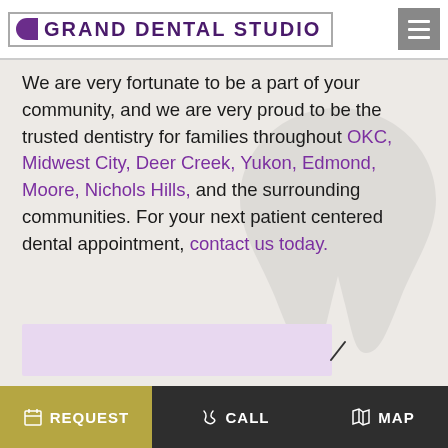GRAND DENTAL STUDIO
We are very fortunate to be a part of your community, and we are very proud to be the trusted dentistry for families throughout OKC, Midwest City, Deer Creek, Yukon, Edmond, Moore, Nichols Hills, and the surrounding communities. For your next patient centered dental appointment, contact us today.
Sincerely,
Dr. Michael Kirk
[Figure (illustration): Signature box with partial handwritten signature]
REQUEST   CALL   MAP